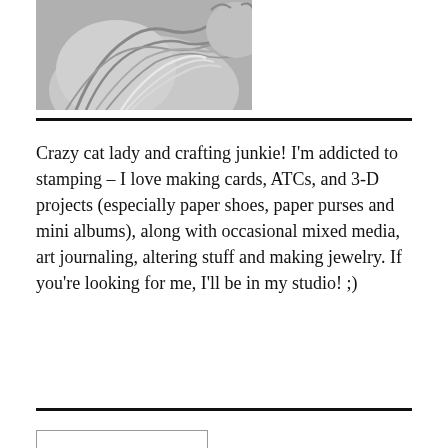[Figure (illustration): Partial illustration of a cat in grayscale, showing fur and flowing shapes at the top of the page.]
Crazy cat lady and crafting junkie! I'm addicted to stamping – I love making cards, ATCs, and 3-D projects (especially paper shoes, paper purses and mini albums), along with occasional mixed media, art journaling, altering stuff and making jewelry. If you're looking for me, I'll be in my studio! ;)